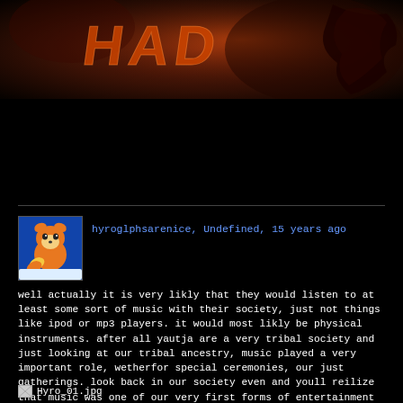[Figure (photo): Dark orange/red banner image with stylized text 'HAD' or similar and demonic/monstrous imagery on dark background]
hyroglphsarenice, Undefined, 15 years ago
[Figure (photo): Avatar image of Tails from Sonic the Hedgehog on blue background]
well actually it is very likly that they would listen to at least some sort of music with their society, just not things like ipod or mp3 players. it would most likly be physical instruments. after all yautja are a very tribal society and just looking at our tribal ancestry, music played a very important role, wetherfor special ceremonies, our just gatherings. look back in our society even and youll reilize that music was one of our very first forms of entertainment
[Figure (photo): Broken image placeholder labeled Hyro_01.jpg]